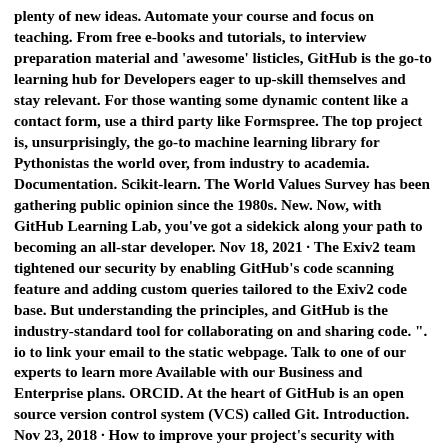plenty of new ideas. Automate your course and focus on teaching. From free e-books and tutorials, to interview preparation material and 'awesome' listicles, GitHub is the go-to learning hub for Developers eager to up-skill themselves and stay relevant. For those wanting some dynamic content like a contact form, use a third party like Formspree. The top project is, unsurprisingly, the go-to machine learning library for Pythonistas the world over, from industry to academia. Documentation. Scikit-learn. The World Values Survey has been gathering public opinion since the 1980s. New. Now, with GitHub Learning Lab, you've got a sidekick along your path to becoming an all-star developer. Nov 18, 2021 · The Exiv2 team tightened our security by enabling GitHub's code scanning feature and adding custom queries tailored to the Exiv2 code base. But understanding the principles, and GitHub is the industry-standard tool for collaborating on and sharing code. ". io to link your email to the static webpage. Talk to one of our experts to learn more Available with our Business and Enterprise plans. ORCID. At the heart of GitHub is an open source version control system (VCS) called Git. Introduction. Nov 23, 2018 · How to improve your project's security with GitHub August 10, 17, and 31 2021 Learn more → Webcast Learning Journey: Securing software in public sector October 05, 12, and 26 2021 Learn more → Webcast Accelerating DevOps through automation with GitHub October 8, 15 and 22, 2021 Learn more → May 06, 2019 · Today, over 10,000 open